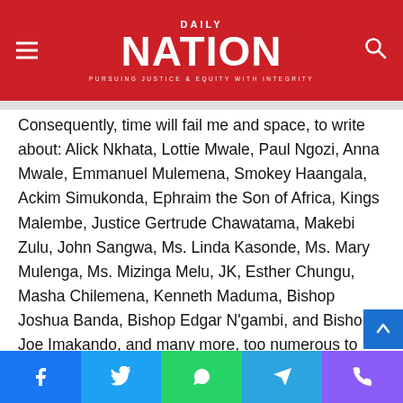[Figure (logo): Daily Nation newspaper logo on red background with hamburger menu icon on left and search icon on right. Logo reads DAILY NATION with tagline PURSUING JUSTICE & EQUITY WITH INTEGRITY]
Consequently, time will fail me and space, to write about: Alick Nkhata, Lottie Mwale, Paul Ngozi, Anna Mwale, Emmanuel Mulemena, Smokey Haangala, Ackim Simukonda, Ephraim the Son of Africa, Kings Malembe, Justice Gertrude Chawatama, Makebi Zulu, John Sangwa, Ms. Linda Kasonde, Ms. Mary Mulenga, Ms. Mizinga Melu, JK, Esther Chungu, Masha Chilemena, Kenneth Maduma, Bishop Joshua Banda, Bishop Edgar N'gambi, and Bishop Joe Imakando, and many more, too numerous to mention. Let us honour, and celebrate our national heroes now!
[Figure (other): Social media share bar with Facebook, Twitter, WhatsApp, Telegram, and phone icons]